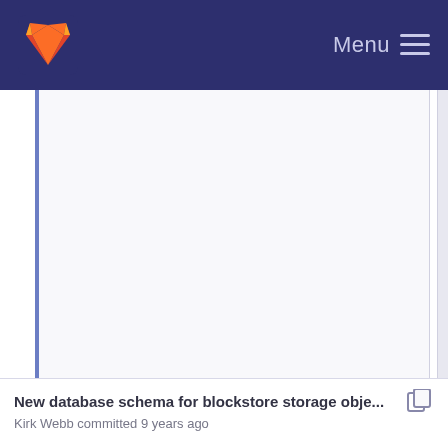Menu
[Figure (screenshot): Large blank/empty content area in a GitLab web interface, showing a white/light gray panel with a left blue border stripe]
New database schema for blockstore storage obje...
Kirk Webb committed 9 years ago